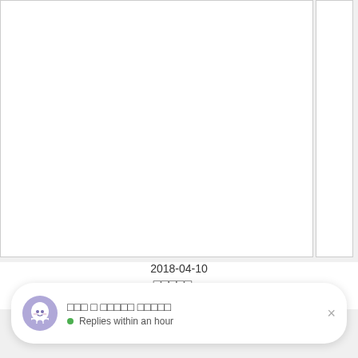[Figure (screenshot): White rectangular content area with border, partially cropped, representing a webpage or document viewer. A narrower white panel appears to the right.]
2018-04-10
□□□□□ー
(15)
[Figure (screenshot): Chat widget at the bottom of the page showing a purple ghost emoji icon, Japanese text title, and 'Replies within an hour' status with a green dot. Has a close (×) button.]